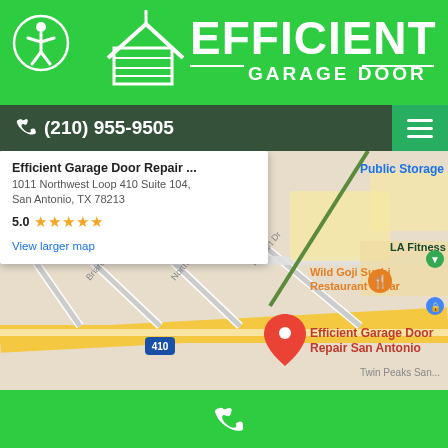[Figure (logo): Efficient Garage Door company logo with house/garage icon and accessibility icon on green background]
☎ (210) 955-9505
[Figure (screenshot): Google Maps screenshot showing Efficient Garage Door Repair San Antonio location at 1011 Northwest Loop 410 Suite 104, San Antonio, TX 78213 with 5.0 star rating and surrounding streets including Briarcliff Dr, Northcrest Dr, Halbart Dr, and nearby businesses like Wild Goji Sushi Restaurant & Bar, LA Fitness, Public Storage]
Efficient Garage Door Repair ...
1011 Northwest Loop 410 Suite 104, San Antonio, TX 78213
5.0 ★★★★★
View larger map
[Figure (logo): White phone handset icon on green bottom bar]